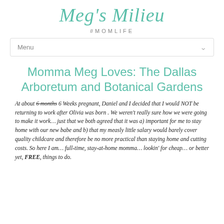Meg's Milieu
#MOMLIFE
Menu
Momma Meg Loves: The Dallas Arboretum and Botanical Gardens
At about 6 months 6 Weeks pregnant, Daniel and I decided that I would NOT be returning to work after Olivia was born . We weren't really sure how we were going to make it work… just that we both agreed that it was a) important for me to stay home with our new babe and b) that my measly little salary would barely cover quality childcare and therefore be no more practical than staying home and cutting costs. So here I am… full-time, stay-at-home momma… lookin' for cheap… or better yet, FREE, things to do.